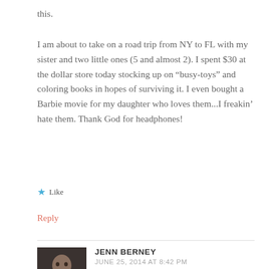this.
I am about to take on a road trip from NY to FL with my sister and two little ones (5 and almost 2). I spent $30 at the dollar store today stocking up on “busy-toys” and coloring books in hopes of surviving it. I even bought a Barbie movie for my daughter who loves them...I freakin’ hate them. Thank God for headphones!
★ Like
Reply
JENN BERNEY
JUNE 25, 2014 AT 8:42 PM